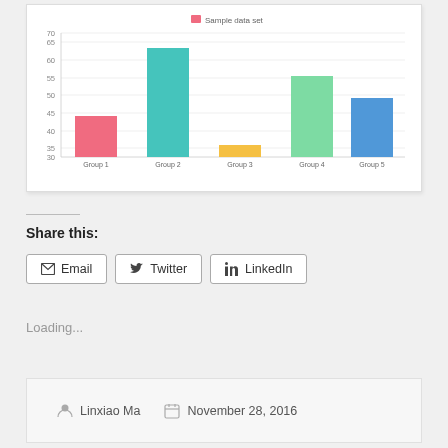[Figure (bar-chart): Sample data set]
Share this:
Email
Twitter
LinkedIn
Loading...
Linxiao Ma   November 28, 2016